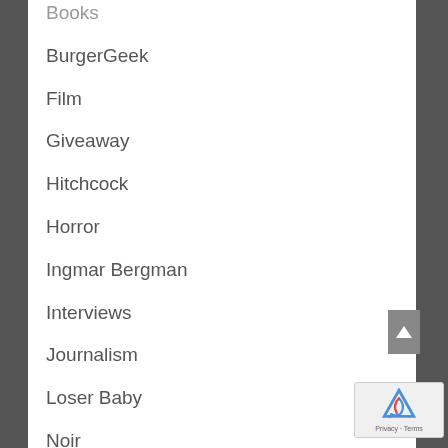Books
BurgerGeek
Film
Giveaway
Hitchcock
Horror
Ingmar Bergman
Interviews
Journalism
Loser Baby
Noir
Poetry
Publishing
Reviews
Stories